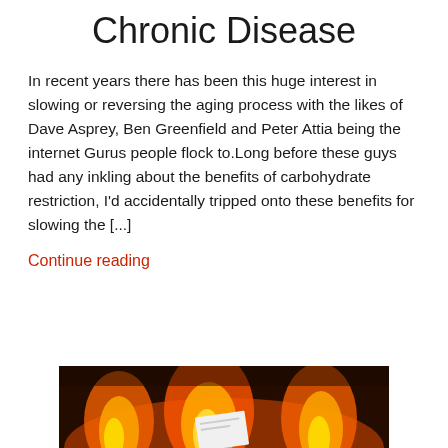Chronic Disease
In recent years there has been this huge interest in slowing or reversing the aging process with the likes of Dave Asprey, Ben Greenfield and Peter Attia being the internet Gurus people flock to.Long before these guys had any inkling about the benefits of carbohydrate restriction, I'd accidentally tripped onto these benefits for slowing the [...]
Continue reading
[Figure (photo): A photo of a paper card or document being burned by fire/flames, with orange and yellow flames visible against a dark background.]